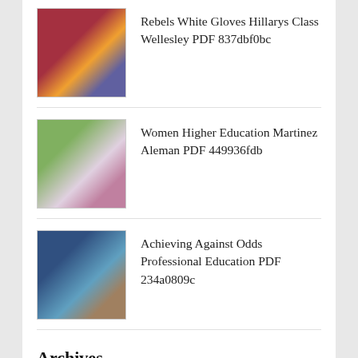Rebels White Gloves Hillarys Class Wellesley PDF 837dbf0bc
Women Higher Education Martinez Aleman PDF 449936fdb
Achieving Against Odds Professional Education PDF 234a0809c
Archives
August 2022 (35)
July 2022 (60)
June 2022 (40)
May 2022 (44)
April 2022 (45)
March 2022 (58)
February 2022 (51)